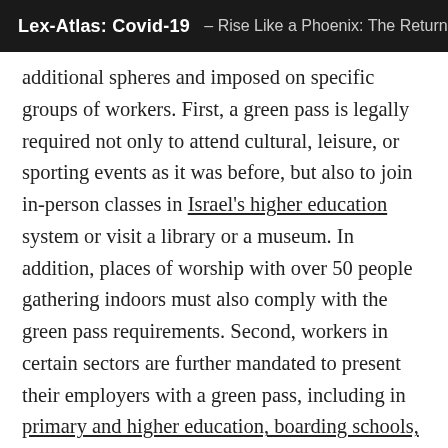Lex-Atlas: Covid-19 – Rise Like a Phoenix: The Return
additional spheres and imposed on specific groups of workers. First, a green pass is legally required not only to attend cultural, leisure, or sporting events as it was before, but also to join in-person classes in Israel's higher education system or visit a library or a museum. In addition, places of worship with over 50 people gathering indoors must also comply with the green pass requirements. Second, workers in certain sectors are further mandated to present their employers with a green pass, including in primary and higher education, boarding schools, occupational training facilities, healthcare, and several public sector offices. At the same time, Israel slightly limited the age group on which it applies. All individuals above the age of three